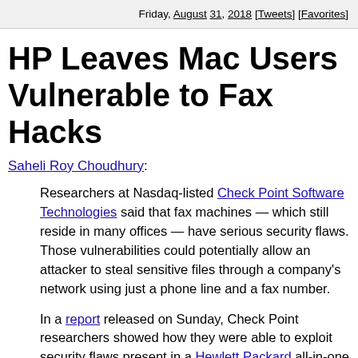Friday, August 31, 2018 [Tweets] [Favorites]
HP Leaves Mac Users Vulnerable to Fax Hacks
Saheli Roy Choudhury:
Researchers at Nasdaq-listed Check Point Software Technologies said that fax machines — which still reside in many offices — have serious security flaws. Those vulnerabilities could potentially allow an attacker to steal sensitive files through a company's network using just a phone line and a fax number.
In a report released on Sunday, Check Point researchers showed how they were able to exploit security flaws present in a Hewlett Packard all-in-one printer. Standalone fax machines are a rarity in companies today, but the fax function is still present in